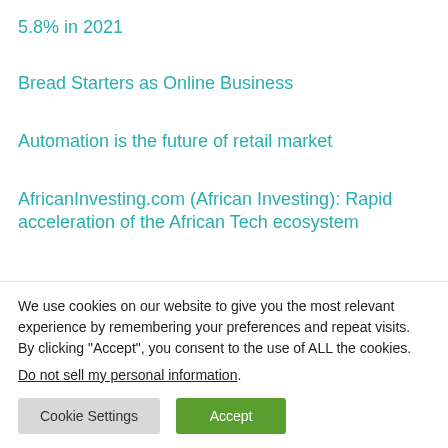5.8% in 2021
Bread Starters as Online Business
Automation is the future of retail market
AfricanInvesting.com (African Investing): Rapid acceleration of the African Tech ecosystem
The global demand for semiconductor chips continues to
We use cookies on our website to give you the most relevant experience by remembering your preferences and repeat visits. By clicking “Accept”, you consent to the use of ALL the cookies.
Do not sell my personal information.